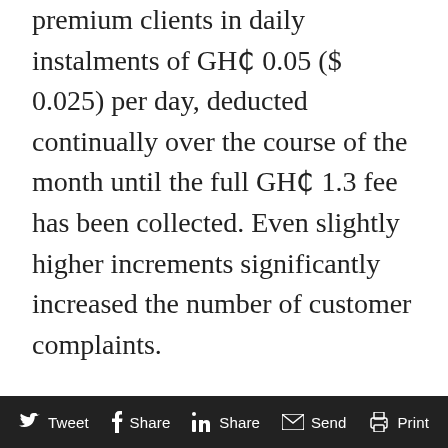premium clients in daily instalments of GH₵ 0.05 ($ 0.025) per day, deducted continually over the course of the month until the full GH₵ 1.3 fee has been collected. Even slightly higher increments significantly increased the number of customer complaints.
Traditional insurance underwriters may take some persuading before being willing to commit to such an untested product, delivery channel and market segment. If so, working with an intermediary institution like MicroEnsure or BIMA can ease their hesitation by reducing the costs of designing and administering the product, pre-processing
Tweet  Share  Share  Send  Print